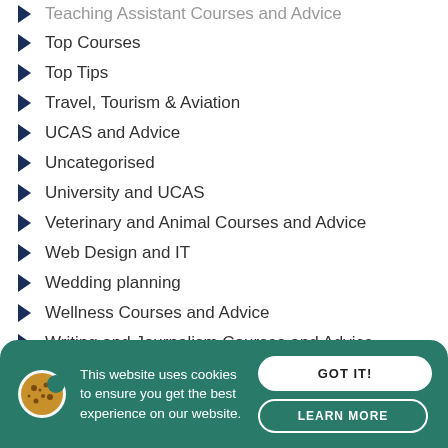Teaching Assistant Courses and Advice
Top Courses
Top Tips
Travel, Tourism & Aviation
UCAS and Advice
Uncategorised
University and UCAS
Veterinary and Animal Courses and Advice
Web Design and IT
Wedding planning
Wellness Courses and Advice
Writing and Journalism Courses and Advice
Zookeeping/Zoology
This website uses cookies to ensure you get the best experience on our website.